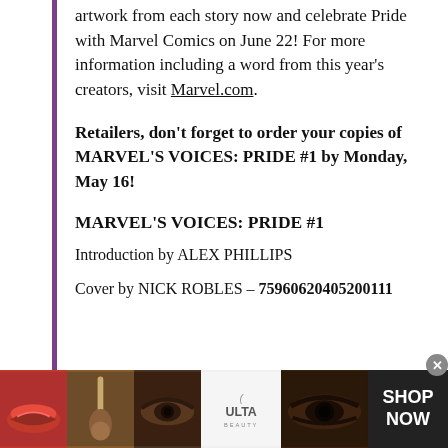artwork from each story now and celebrate Pride with Marvel Comics on June 22! For more information including a word from this year's creators, visit Marvel.com.
Retailers, don't forget to order your copies of MARVEL'S VOICES: PRIDE #1 by Monday, May 16!
MARVEL'S VOICES: PRIDE #1
Introduction by ALEX PHILLIPS
Cover by NICK ROBLES – 75960620405200111
[Figure (photo): Advertisement banner for Ulta Beauty showing close-up makeup/beauty images including lips with lipstick, a makeup brush, an eye with eyeshadow, the Ulta Beauty logo, and dramatic eye makeup. A SHOP NOW button appears on the right.]